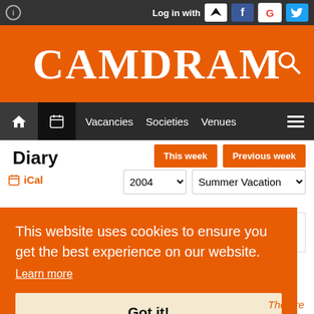Log in with [Raven] [Facebook] [Google] [Twitter]
CAMDRAM
Vacancies  Societies  Venues
Diary
This week   Previous week
iCal
2004  Summer Vacation
Sat 18 Sep
This website uses cookies to ensure you get the best experience on our website. Learn more
Got it!
Theatre